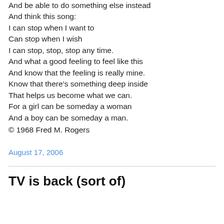And be able to do something else instead
And think this song:
I can stop when I want to
Can stop when I wish
I can stop, stop, stop any time.
And what a good feeling to feel like this
And know that the feeling is really mine.
Know that there's something deep inside
That helps us become what we can.
For a girl can be someday a woman
And a boy can be someday a man.
© 1968 Fred M. Rogers
August 17, 2006
TV is back (sort of)